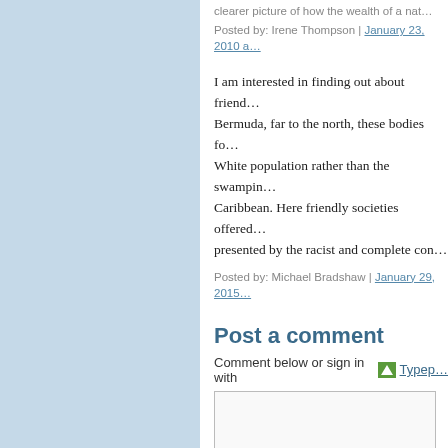clearer picture of how the wealth of a nat...
Posted by: Irene Thompson | January 23, 2010 a...
I am interested in finding out about friend... Bermuda, far to the north, these bodies fo... White population rather than the swampin... Caribbean. Here friendly societies offered... presented by the racist and complete con...
Posted by: Michael Bradshaw | January 29, 2015
Post a comment
Comment below or sign in with Typep...
(You can use HTML tags like <b> <i> and <ul> to...